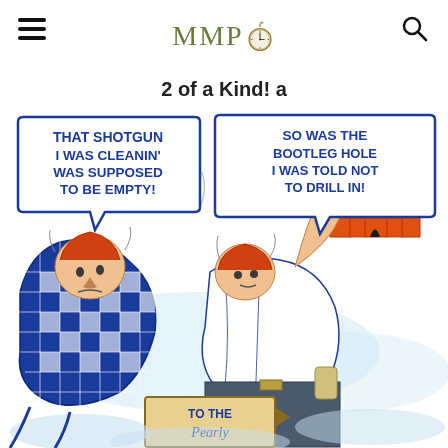MMPO (logo with clock)
2 of a Kind! a
[Figure (illustration): Vintage comic illustration in blue and orange showing two injured men bent over in pain with speech bubbles. Left speech bubble reads: 'THAT SHOTGUN I WAS CLEANIN' WAS SUPPOSED TO BE EMPTY!' Right speech bubble reads: 'SO WAS THE BOOTLEG HOLE I WAS TOLD NOT TO DRILL IN!' In the background, an orange castle/building with rays of light (pearly gates motif). At the bottom, a sign reads 'TO THE Pearly'. The characters appear battered and smoking.]